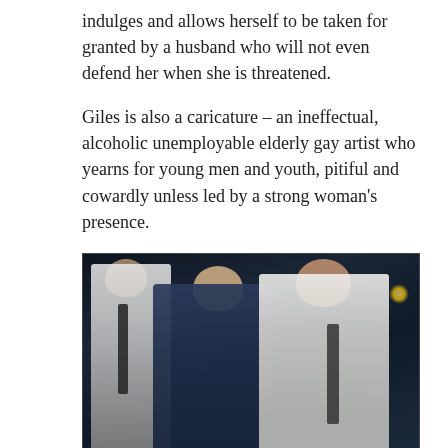indulges and allows herself to be taken for granted by a husband who will not even defend her when she is threatened.
Giles is also a caricature – an ineffectual, alcoholic unemployable elderly gay artist who yearns for young men and youth, pitiful and cowardly unless led by a strong woman's presence.
[Figure (photo): A dark movie still showing three men in a dimly lit room. On the left, a man in a white shirt with a dark tie stands. In the center, a man in a dark military uniform smiles and holds a document. On the right, a larger man in a white shirt with a dark tie sits relaxed.]
The military is portrayed as heartlessly and unnecessarily cruel, disposing of people like used socks and planning to vivisect a one of a kind